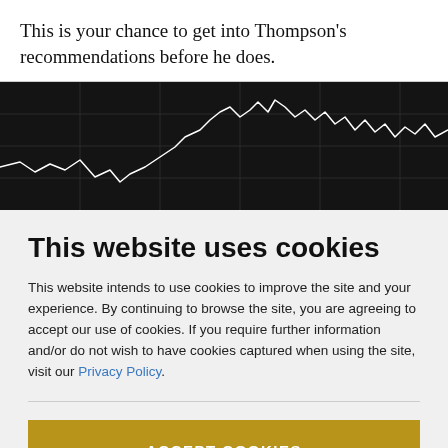This is your chance to get into Thompson's recommendations before he does.
[Figure (other): Dark background stock market chart showing a white line graph with price fluctuations]
This website uses cookies
This website intends to use cookies to improve the site and your experience. By continuing to browse the site, you are agreeing to accept our use of cookies. If you require further information and/or do not wish to have cookies captured when using the site, visit our Privacy Policy.